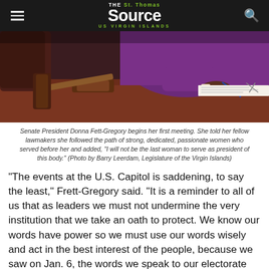THE St. Thomas Source US VIRGIN ISLANDS
[Figure (photo): Senate President Donna Fett-Gregory seated at a legislative desk with a gavel in front of her, wearing a purple outfit, writing with a pen.]
Senate President Donna Fett-Gregory begins her first meeting. She told her fellow lawmakers she followed the path of strong, dedicated, passionate women who served before her and added, "I will not be the last woman to serve as president of this body." (Photo by Barry Leerdam, Legislature of the Virgin Islands)
“The events at the U.S. Capitol is saddening, to say the least,” Frett-Gregory said. “It is a reminder to all of us that as leaders we must not undermine the very institution that we take an oath to protect. We know our words have power so we must use our words wisely and act in the best interest of the people, because we saw on Jan. 6, the words we speak to our electorate can have far-reaching implications.”